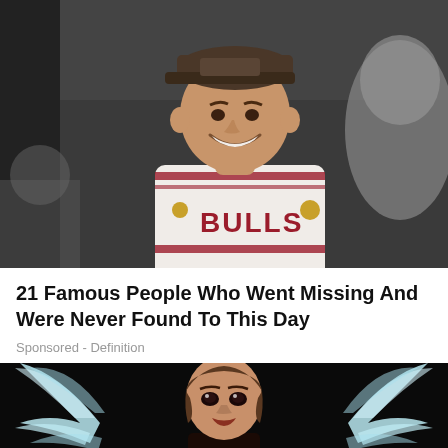[Figure (photo): Man smiling, wearing a Chicago Bulls basketball jersey and a flat-brim cap, with another person partially visible on the right side]
21 Famous People Who Went Missing And Were Never Found To This Day
Sponsored - Definition
[Figure (photo): Woman with large white angel wings against a black background, wearing a dark outfit, looking at the camera]